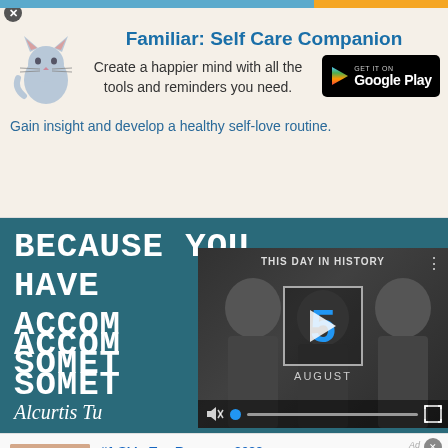[Figure (screenshot): Advertisement for Familiar: Self Care Companion app. Shows a cat illustration, app title in blue bold text, tagline text, and a Google Play download badge. Background is light beige/cream.]
[Figure (screenshot): Book cover image with teal/dark blue background showing large white serif text: BECAUSE YOU HAVE ACCOMPLISHED SOMETHING, with author name Alcurtis Tu... partially visible. Overlaid by a video player showing 'THIS DAY IN HISTORY' with number 5 and AUGUST text, video controls including mute icon, progress bar, and fullscreen button.]
[Figure (screenshot): Advertisement banner: #1 Skin Tag Remover 2022. Shows a skin photo on the left, headline in blue, body text 'Completely and Permanently Remove The Blemish Within Hours', website naturalhealthcures.net in green, and a purple circular arrow button on right.]